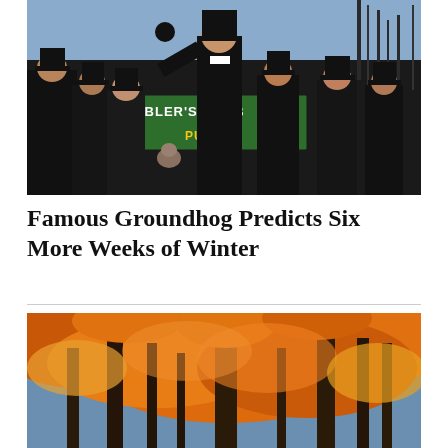[Figure (photo): Groundhog Day ceremony at Gobbler's Knob, Punxsutawney. Men in black top hats and coats stand on a stage with a sign reading 'GOBBLER'S KNOB' and 'PUNXSY' visible. One man holds up a groundhog. Winter scene with bare trees in background.]
Famous Groundhog Predicts Six More Weeks of Winter
[Figure (photo): Autumn forest scene with orange and red fall foliage on trees, viewed from below looking up through the colorful canopy.]